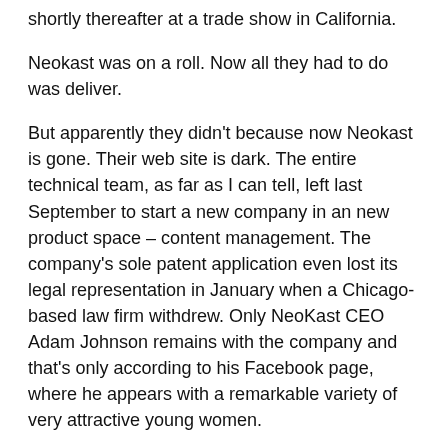shortly thereafter at a trade show in California.
Neokast was on a roll.  Now all they had to do was deliver.
But apparently they didn't because now Neokast is gone.  Their web site is dark.  The entire technical team, as far as I can tell, left last September to start a new company in an new product space – content management.  The company's sole patent application even lost its legal representation in January when a Chicago-based law firm withdrew.  Only NeoKast CEO Adam Johnson remains with the company and that's only according to his Facebook page, where he appears with a remarkable variety of very attractive young women.
It's a familiar story, right?  The idea was good but the code wasn't.  OR the code was good but they ran out of money.  OR the code was good and they had enough money but the founders had a falling-out.  OR any other mundane reason that you might care to come up with.  Neokast is gone, so what?
I'll tell you so what.  My 22 years in this industry tell me that